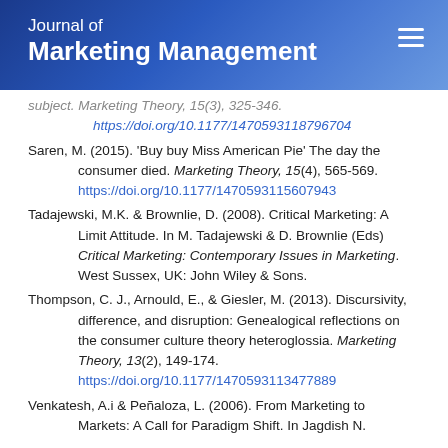Journal of Marketing Management
subject. Marketing Theory, 15(3), 325-346. https://doi.org/10.1177/1470593118796704
Saren, M. (2015). 'Buy buy Miss American Pie' The day the consumer died. Marketing Theory, 15(4), 565-569. https://doi.org/10.1177/1470593115607943
Tadajewski, M.K. & Brownlie, D. (2008). Critical Marketing: A Limit Attitude. In M. Tadajewski & D. Brownlie (Eds) Critical Marketing: Contemporary Issues in Marketing. West Sussex, UK: John Wiley & Sons.
Thompson, C. J., Arnould, E., & Giesler, M. (2013). Discursivity, difference, and disruption: Genealogical reflections on the consumer culture theory heteroglossia. Marketing Theory, 13(2), 149-174. https://doi.org/10.1177/1470593113477889
Venkatesh, A.i & Peñaloza, L. (2006). From Marketing to Markets: A Call for Paradigm Shift. In Jagdish N.